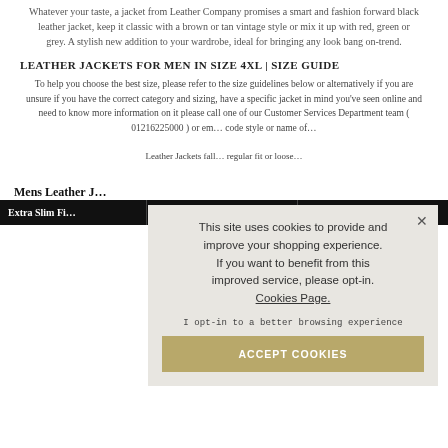Whatever your taste, a jacket from Leather Company promises a smart and fashion forward black leather jacket, keep it classic with a brown or tan vintage style or mix it up with red, green or grey. A stylish new addition to your wardrobe, ideal for bringing any look bang on-trend.
LEATHER JACKETS FOR MEN IN SIZE 4XL | SIZE GUIDE
To help you choose the best size, please refer to the size guidelines below or alternatively if you are unsure if you have the correct category and sizing, have a specific jacket in mind you've seen online and need to know more information on it please call one of our Customer Services Department team ( 01216225000 ) or em... code style or name of...
Leather Jackets fall... regular fit or loose...
Mens Leather J...
| Extra Slim Fi... | Fit Chest (inches) | Fit Chest (cm) |
| --- | --- | --- |
[Figure (screenshot): Cookie consent overlay popup with text: This site uses cookies to provide and improve your shopping experience. If you want to benefit from this improved service, please opt-in. Cookies Page. I opt-in to a better browsing experience. ACCEPT COOKIES button.]